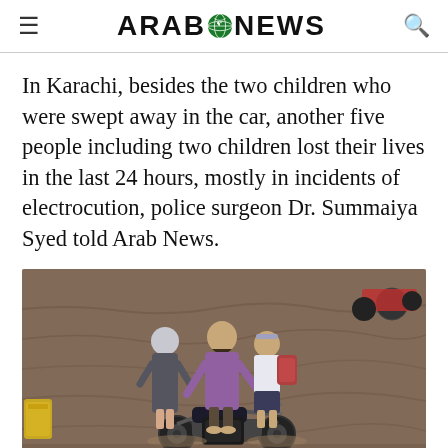ARAB NEWS
In Karachi, besides the two children who were swept away in the car, another five people including two children lost their lives in the last 24 hours, mostly in incidents of electrocution, police surgeon Dr. Summaiya Syed told Arab News.
[Figure (photo): A family of three riding a motorcycle through deep floodwater in Karachi. A man in a purple shirt is riding the motorcycle with a girl in school uniform in front of him and a woman in a hijab walking alongside. The water is muddy brown and flowing rapidly. A yellow container is visible on the left side.]